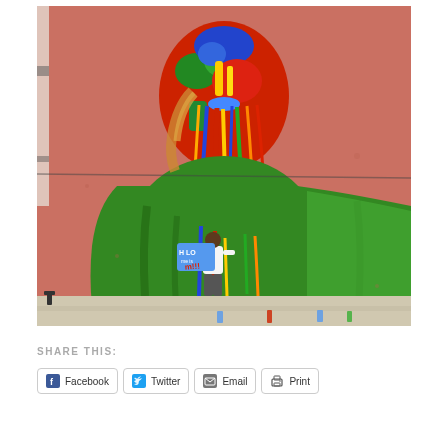[Figure (photo): A large colorful street mural on a pink/salmon-colored wall depicting a figure with a face painted in vivid blue, red, green, and yellow with dripping paint effects. The figure wears a green hoodie. A small person stands in front of the mural holding a blue 'HELLO my name is' sign with graffiti text. The mural dwarfs the real person standing before it.]
SHARE THIS:
Facebook
Twitter
Email
Print